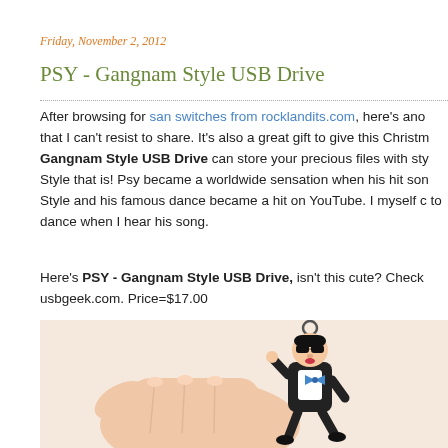Friday, November 2, 2012
PSY - Gangnam Style USB Drive
After browsing for san switches from rocklandits.com, here's ano that I can't resist to share. It's also a great gift to give this Christm Gangnam Style USB Drive can store your precious files with sty Style that is! Psy became a worldwide sensation when his hit son Style and his famous dance became a hit on YouTube. I myself c to dance when I hear his song.
Here's PSY - Gangnam Style USB Drive, isn't this cute? Check usbgeek.com. Price=$17.00
[Figure (photo): A hand holding a small PSY Gangnam Style USB drive figurine shaped like the Korean pop star PSY in his iconic black suit with sunglasses and blue bow tie, doing his famous dance pose.]